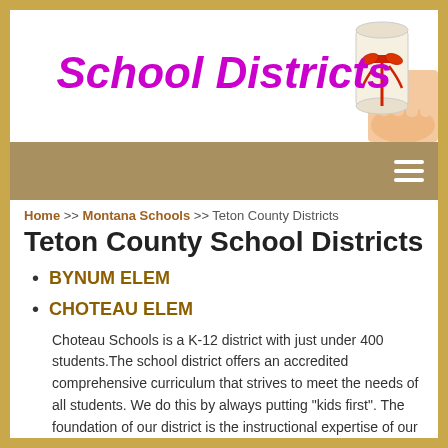School Districts
[Figure (photo): Hand holding a diploma/scroll tied with red ribbon]
Navigation bar with hamburger menu icon
Home >> Montana Schools >> Teton County Districts
Teton County School Districts
BYNUM ELEM
CHOTEAU ELEM
Choteau Schools is a K-12 district with just under 400 students.The school district offers an accredited comprehensive curriculum that strives to meet the needs of all students. We do this by always putting "kids first". The foundation of our district is the instructional expertise of our teachers and a favorable connection with school and community. We are constantly striving to enhance this